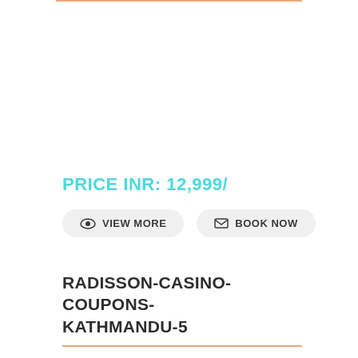PRICE INR: 12,999/
VIEW MORE
BOOK NOW
RADISSON-CASINO-COUPONS-KATHMANDU-5